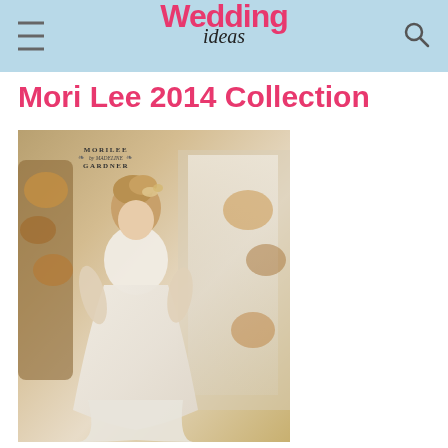Wedding ideas
Mori Lee 2014 Collection
[Figure (photo): A model wearing a white lace Mori Lee wedding dress in a fitted silhouette with a long veil, standing in a decorative setting with floral arrangements. The Morilee by Madeline Gardner logo appears in the upper left corner of the photo.]